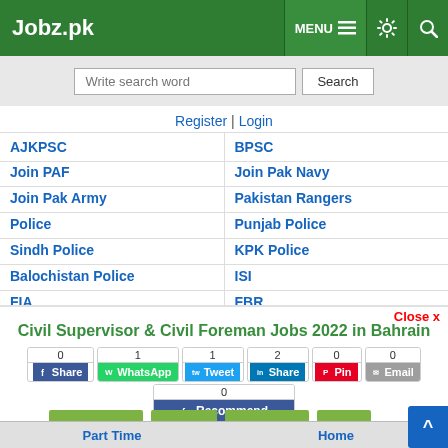Jobz.pk | MENU | Settings | Search
Write search word | Search
Register | Login
AJKPSC | BPSC
Join PAF | Join Pak Navy
Join Pak Army | Pakistan Rangers
Police | Punjab Police
Sindh Police | KPK Police
Balochistan Police | ISI
FIA | FBR
NAB | NTS
Civil Supervisor & Civil Foreman Jobs 2022 in Bahrain
Share buttons: 0 Share, 1 WhatsApp, 1 Tweet, 2 Share, 0 Pin, 0 Email, 0 Recommend
Job Closed | Save | Comment | Print
Part Time | Home